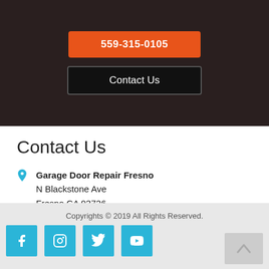[Figure (screenshot): Dark hero section with orange phone number button '559-315-0105' and black 'Contact Us' button]
Contact Us
Garage Door Repair Fresno
N Blackstone Ave
Fresno CA 93726
559-315-0105
Copyrights © 2019 All Rights Reserved.